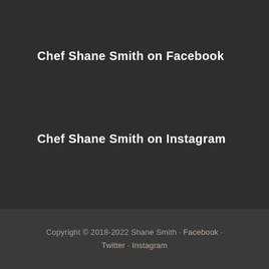Chef Shane Smith on Facebook
Chef Shane Smith on Instagram
Copyright © 2018-2022 Shane Smith · Facebook · Twitter · Instagram